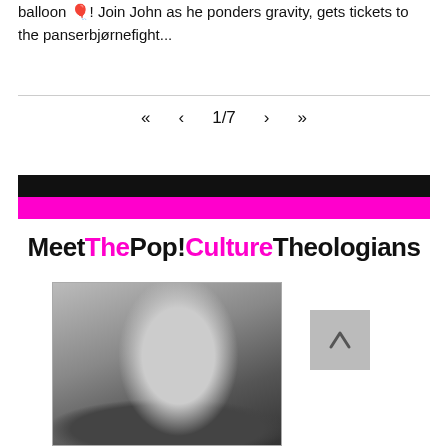balloon 🎈! Join John as he ponders gravity, gets tickets to the panserbjørnefight...
1/7
[Figure (infographic): Black and magenta horizontal banner stripes followed by title text 'MeetThePop!CultureTheologians' with 'The' and 'Culture' in magenta]
MeetThePop!CultureTheologians
[Figure (photo): Black and white photo of a person speaking into a megaphone on a street, wearing a t-shirt reading 'Abortion is Health Care']